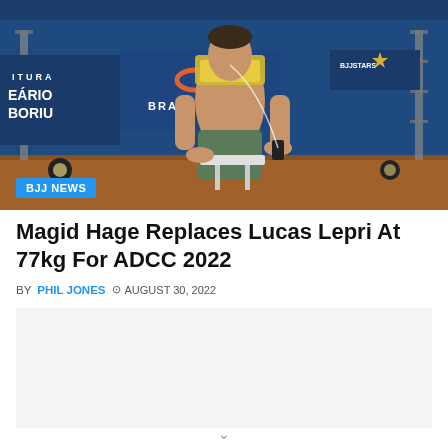[Figure (photo): A male BJJ fighter sitting in a chair at an event venue, shirtless with a yellow towel draped over his shoulders and green shorts, with sponsor banners in the background including BRAUS and BJJ STARS, with a BJJ NEWS tag overlay in the bottom left]
Magid Hage Replaces Lucas Lepri At 77kg For ADCC 2022
BY PHIL JONES  © AUGUST 30, 2022